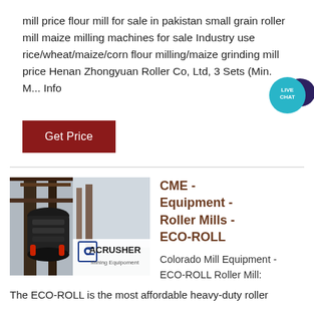mill price flour mill for sale in pakistan small grain roller mill maize milling machines for sale Industry use rice/wheat/maize/corn flour milling/maize grinding mill price Henan Zhongyuan Roller Co, Ltd, 3 Sets (Min. M... Info
[Figure (other): Live Chat badge — teal circle with 'LIVE CHAT' text and speech bubble icon]
Get Price
[Figure (photo): Photo of industrial roller mill machinery (crusher/grinder equipment on a frame), with an ACRUSHER Mining Equipment watermark/logo overlay in the lower right]
CME - Equipment - Roller Mills - ECO-ROLL
Colorado Mill Equipment - ECO-ROLL Roller Mill:
The ECO-ROLL is the most affordable heavy-duty roller